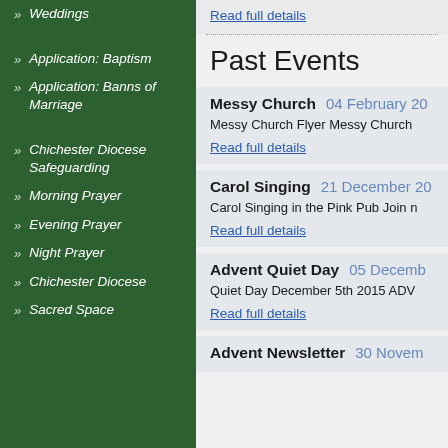» Weddings
» Application: Baptism
» Application: Banns of Marriage
» Chichester Diocese Safeguarding
» Morning Prayer
» Evening Prayer
» Night Prayer
» Chichester Diocese
» Sacred Space
Read full details
Past Events
Messy Church  04 February 20...
Messy Church Flyer Messy Church...
Read full details
Carol Singing  21 December 20...
Carol Singing in the Pink Pub Join n...
Read full details
Advent Quiet Day  05 Decemb...
Quiet Day December 5th 2015 ADV...
Read full details
Advent Newsletter  30 Novem...